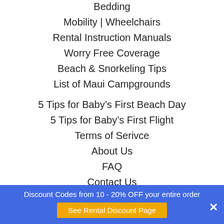Bedding
Mobility | Wheelchairs
Rental Instruction Manuals
Worry Free Coverage
Beach & Snorkeling Tips
List of Maui Campgrounds
5 Tips for Baby's First Beach Day
5 Tips for Baby's First Flight
Terms of Serivce
About Us
FAQ
Contact Us
Helpful Links
Discount Codes from 10 - 20% OFF your entire order
See Rental Discount Page